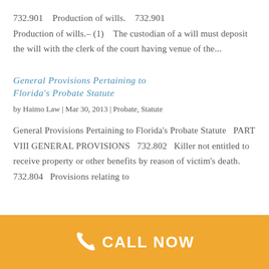732.901    Production of wills.    732.901
Production of wills.– (1)    The custodian of a will must deposit the will with the clerk of the court having venue of the...
General Provisions Pertaining to Florida's Probate Statute
by Haimo Law | Mar 30, 2013 | Probate, Statute
General Provisions Pertaining to Florida's Probate Statute    PART VIII GENERAL PROVISIONS    732.802    Killer not entitled to receive property or other benefits by reason of victim's death. 732.804    Provisions relating to
[Figure (other): Orange call-to-action bar with phone icon and 'CALL NOW' text in white on gold/amber background]